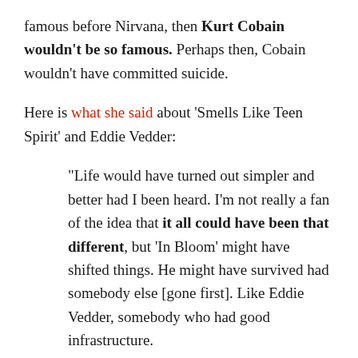famous before Nirvana, then Kurt Cobain wouldn't be so famous. Perhaps then, Cobain wouldn't have committed suicide.
Here is what she said about 'Smells Like Teen Spirit' and Eddie Vedder:
“Life would have turned out simpler and better had I been heard. I’m not really a fan of the idea that it all could have been that different, but ‘In Bloom’ might have shifted things. He might have survived had somebody else [gone first]. Like Eddie Vedder, somebody who had good infrastructure.